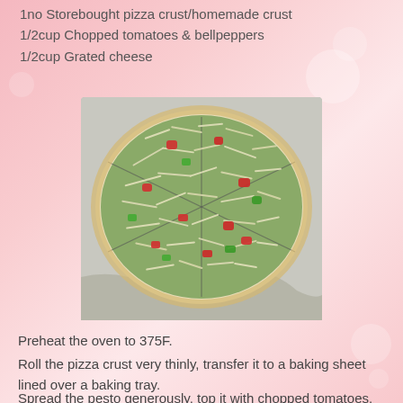1no Storebought pizza crust/homemade crust
1/2cup Chopped tomatoes & bellpeppers
1/2cup Grated cheese
[Figure (photo): A pizza on parchment paper, cut into 6 slices, topped with shredded cheese, chopped tomatoes and green bell peppers on a pesto base]
Preheat the oven to 375F.
Roll the pizza crust very thinly, transfer it to a baking sheet lined over a baking tray.
Spread the pesto generously, top it with chopped tomatoes,